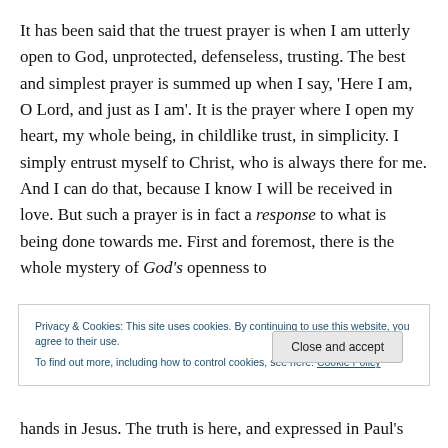It has been said that the truest prayer is when I am utterly open to God, unprotected, defenseless, trusting. The best and simplest prayer is summed up when I say, 'Here I am, O Lord, and just as I am'. It is the prayer where I open my heart, my whole being, in childlike trust, in simplicity. I simply entrust myself to Christ, who is always there for me. And I can do that, because I know I will be received in love. But such a prayer is in fact a response to what is being done towards me. First and foremost, there is the whole mystery of God's openness to
Privacy & Cookies: This site uses cookies. By continuing to use this website, you agree to their use. To find out more, including how to control cookies, see here: Cookie Policy
Close and accept
hands in Jesus. The truth is here, and expressed in Paul's